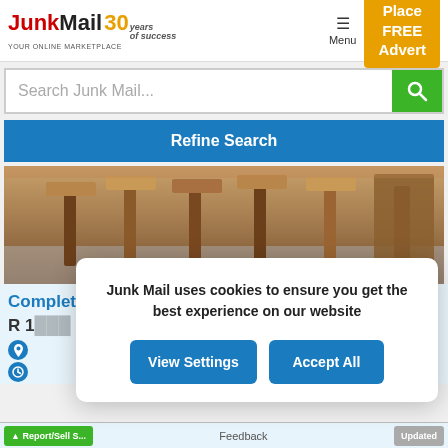JunkMail 30 years of success — YOUR ONLINE MARKETPLACE | Menu | Place FREE Advert
Search Junk Mail...
Refine Search
[Figure (photo): Photo of wooden bar stools and table in a rustic setting]
Complete sleeper bar set
R 1...
Junk Mail uses cookies to ensure you get the best experience on our website
View Settings | Accept All
Feedback